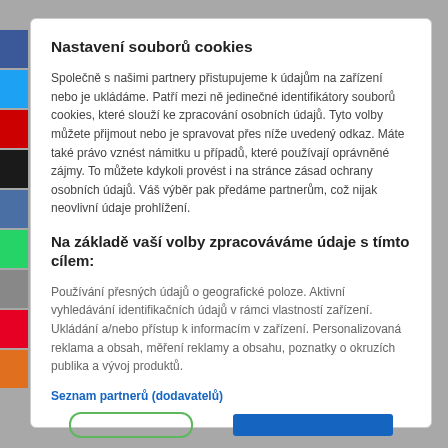Nastavení souborů cookies
Společně s našimi partnery přistupujeme k údajům na zařízení nebo je ukládáme. Patří mezi ně jedinečné identifikátory souborů cookies, které slouží ke zpracování osobních údajů. Tyto volby můžete přijmout nebo je spravovat přes níže uvedený odkaz. Máte také právo vznést námitku u případů, které používají oprávněné zájmy. To můžete kdykoli provést i na stránce zásad ochrany osobních údajů. Váš výběr pak předáme partnerům, což nijak neovlivní údaje prohlížení.
Na základě vaší volby zpracováváme údaje s tímto cílem:
Používání přesných údajů o geografické poloze. Aktivní vyhledávání identifikačních údajů v rámci vlastností zařízení. Ukládání a/nebo přístup k informacím v zařízení. Personalizovaná reklama a obsah, měření reklamy a obsahu, poznatky o okruzích publika a vývoj produktů.
Seznam partnerů (dodavatelů)